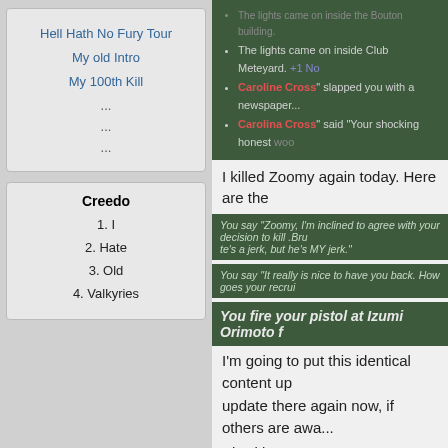Hell Hath No Fury Tour
My old Intro
My 100th Kill
...
...
...
Creedo
1. I
2. Hate
3. Old
4. Valkyries
[Figure (photo): Woman in red dress with dark hair]
The lights came on inside the Bouton building. The lights came on inside Club Meteyard. Caroline Cross slapped you with a newspaper... Caroline Cross said "Your shocking honest..."
I killed Zoomy again today. Here are the
You say "Zoomy, I'm inclined to agree with your decision to kill. He's a jerk, but he's MY jerk." You say "It really is nice to have you back. How goes your recru..." You fire your pistol at Izumi Orimoto f
I'm going to put this identical content up update there again now, if others are awa...
Kiss kiss!
I didn't, but I promise I'll get...